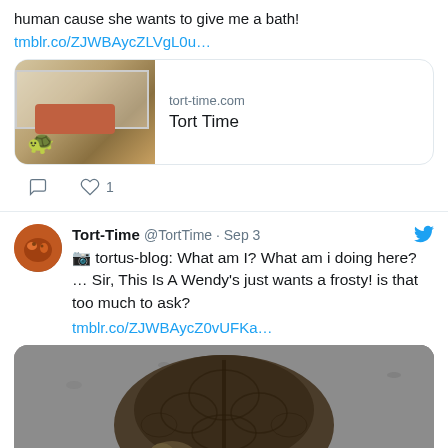human cause she wants to give me a bath!
tmblr.co/ZJWBAycZLVgL0u…
[Figure (screenshot): Link card showing tort-time.com / Tort Time with a thumbnail of a tortoise near a cardboard tube]
1
Tort-Time @TortTime · Sep 3
📷 tortus-blog: What am I? What am i doing here? … Sir, This Is A Wendy's just wants a frosty! is that too much to ask?
tmblr.co/ZJWBAycZ0vUFKa…
[Figure (photo): Photo of a tortoise on a concrete/gravel surface, viewed from above-front angle]